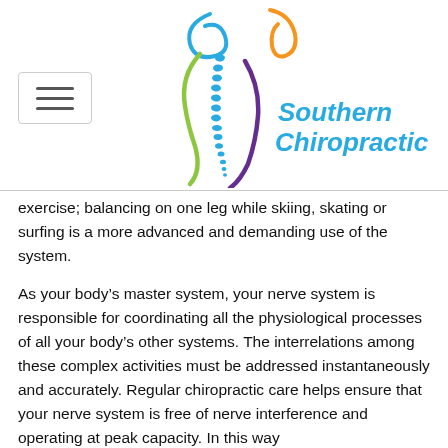[Figure (logo): Southern Chiropractic logo with colorful spine/body silhouette and text 'Southern Chiropractic' in teal/blue italic]
exercise; balancing on one leg while skiing, skating or surfing is a more advanced and demanding use of the system.
As your body's master system, your nerve system is responsible for coordinating all the physiological processes of all your body's other systems. The interrelations among these complex activities must be addressed instantaneously and accurately. Regular chiropractic care helps ensure that your nerve system is free of nerve interference and operating at peak capacity. In this way…